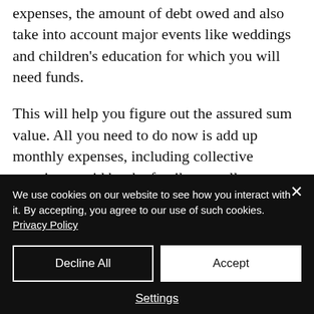expenses, the amount of debt owed and also take into account major events like weddings and children's education for which you will need funds.
This will help you figure out the assured sum value. All you need to do now is add up monthly expenses, including collective premiums paid by the family as well as education fees and then multiply it by 12. This will enable you to arrive at the yearly expense
We use cookies on our website to see how you interact with it. By accepting, you agree to our use of such cookies. Privacy Policy
Decline All
Accept
Settings